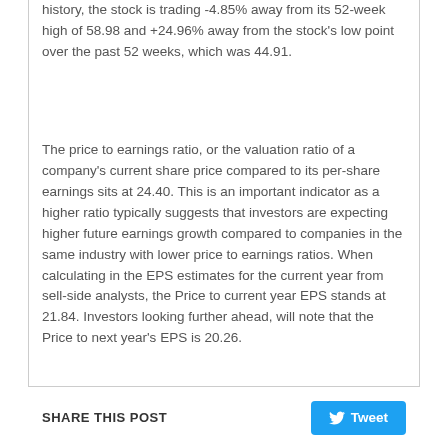history, the stock is trading -4.85% away from its 52-week high of 58.98 and +24.96% away from the stock's low point over the past 52 weeks, which was 44.91.
The price to earnings ratio, or the valuation ratio of a company's current share price compared to its per-share earnings sits at 24.40. This is an important indicator as a higher ratio typically suggests that investors are expecting higher future earnings growth compared to companies in the same industry with lower price to earnings ratios. When calculating in the EPS estimates for the current year from sell-side analysts, the Price to current year EPS stands at 21.84. Investors looking further ahead, will note that the Price to next year's EPS is 20.26.
SHARE THIS POST   Tweet